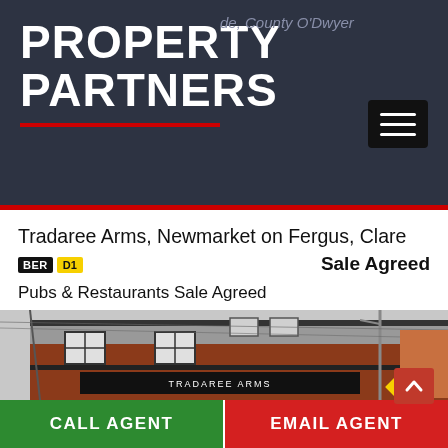PROPERTY PARTNERS
Tradaree Arms, Newmarket on Fergus, Clare Sale Agreed
BER D1
Pubs & Restaurants Sale Agreed
[Figure (photo): Exterior photo of Tradaree Arms pub, a red-brick building with black trim signage reading TRADAREE ARMS, on a street corner in Newmarket on Fergus, Clare.]
CALL AGENT | EMAIL AGENT